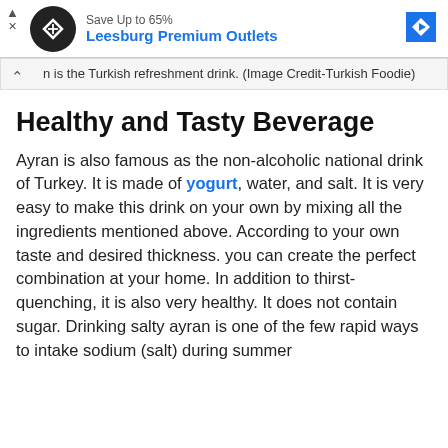[Figure (screenshot): Advertisement banner for Leesburg Premium Outlets with black circle logo with diamond shape, blue text 'Leesburg Premium Outlets', blue arrow navigation icon, and small ad controls.]
n is the Turkish refreshment drink. (Image Credit-Turkish Foodie)
Healthy and Tasty Beverage
Ayran is also famous as the non-alcoholic national drink of Turkey. It is made of yogurt, water, and salt. It is very easy to make this drink on your own by mixing all the ingredients mentioned above. According to your own taste and desired thickness. you can create the perfect combination at your home. In addition to thirst-quenching, it is also very healthy. It does not contain sugar. Drinking salty ayran is one of the few rapid ways to intake sodium (salt) during summer